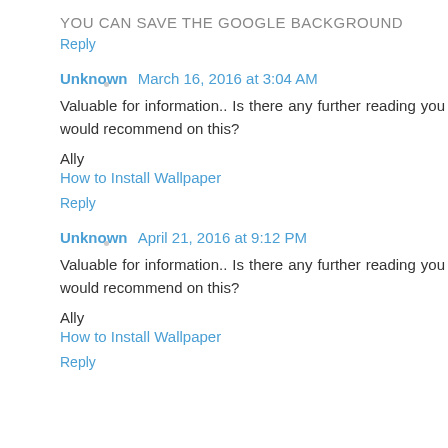YOU CAN SAVE THE GOOGLE BACKGROUND
Reply
Unknown March 16, 2016 at 3:04 AM
Valuable for information.. Is there any further reading you would recommend on this?
Ally
How to Install Wallpaper
Reply
Unknown April 21, 2016 at 9:12 PM
Valuable for information.. Is there any further reading you would recommend on this?
Ally
How to Install Wallpaper
Reply